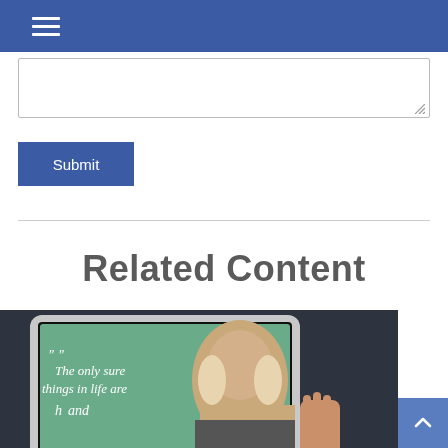[textarea/comment input box]
Submit
Related Content
[Figure (photo): A tablet device displaying a quote attributed to Benjamin Franklin reading 'The only sure things in life are' with an image of Franklin, held by a person's hand against a dark background.]